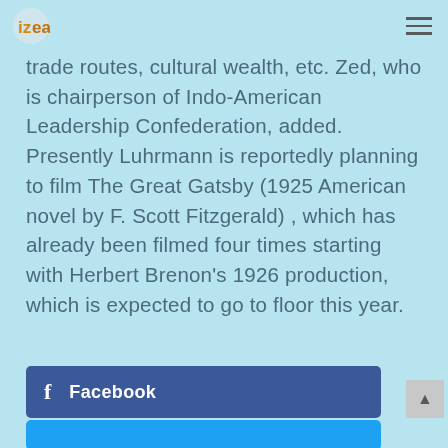izea logo and navigation menu
trade routes, cultural wealth, etc. Zed, who is chairperson of Indo-American Leadership Confederation, added. Presently Luhrmann is reportedly planning to film The Great Gatsby (1925 American novel by F. Scott Fitzgerald) , which has already been filmed four times starting with Herbert Brenon's 1926 production, which is expected to go to floor this year.
[Figure (other): Facebook share button]